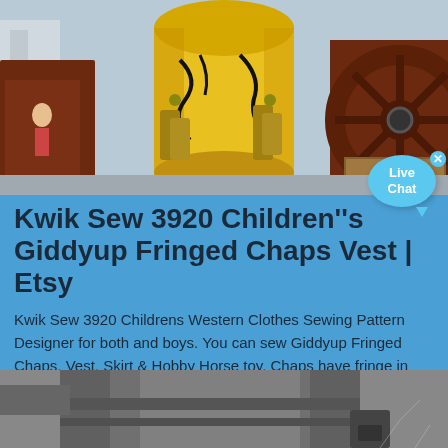[Figure (photo): Industrial yellow cone crusher machine outdoors, with red/rust-colored heavy machinery and a large wheel visible in the background, cloudy sky]
Kwik Sew 3920 Children''s Giddyup Fringed Chaps Vest | Etsy
Kwik Sew 3920 Childrens Western Clothes Sewing Pattern Designer for both and boys. You can sew Giddyup Fringed Chaps, Vest, Skirt & Hobby Horse toy. Chaps have fringe in outside leg seams from self-fabric or contrast, belt with elastic in ...
[Figure (photo): Close-up of industrial gray metallic machinery or equipment, partially cropped at bottom of page]